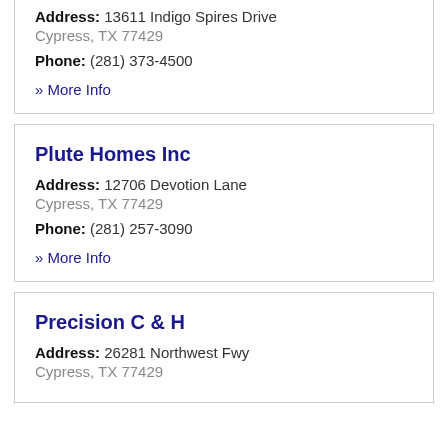Address: 13611 Indigo Spires Drive
Cypress, TX 77429
Phone: (281) 373-4500
» More Info
Plute Homes Inc
Address: 12706 Devotion Lane
Cypress, TX 77429
Phone: (281) 257-3090
» More Info
Precision C & H
Address: 26281 Northwest Fwy
Cypress, TX 77429